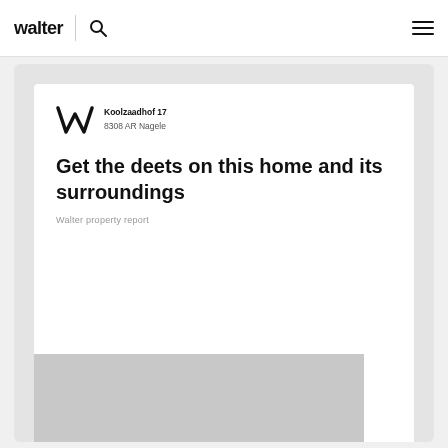Find the Walter plan for you.
[Figure (logo): Walter logo with search icon and hamburger menu in navigation bar]
Koolzaadhof 17
8308 AR Nagele
Get the deets on this home and its surroundings
Walter property report
[Figure (photo): Partial property photo at bottom of card, appears to show a house exterior]